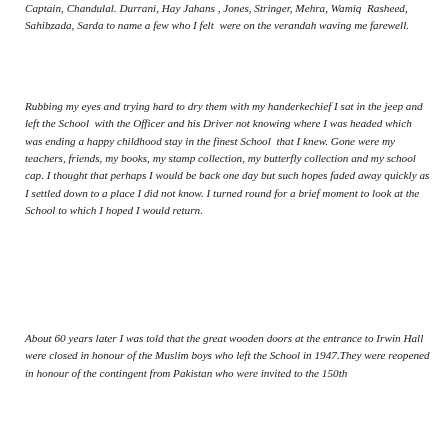Captain, Chandulal. Durrani, Hay Jahans , Jones, Stringer, Mehra, Wamiq Rasheed, Sahibzada, Sarda to name a few who I felt were on the verandah waving me farewell.
Rubbing my eyes and trying hard to dry them with my handerkechief I sat in the jeep and left the School with the Officer and his Driver not knowing where I was headed which was ending a happy childhood stay in the finest School that I knew. Gone were my teachers, friends, my books, my stamp collection, my butterfly collection and my school cap. I thought that perhaps I would be back one day but such hopes faded away quickly as I settled down to a place I did not know. I turned round for a brief moment to look at the School to which I hoped I would return.
About 60 years later I was told that the great wooden doors at the entrance to Irwin Hall were closed in honour of the Muslim boys who left the School in 1947.They were reopened in honour of the contingent from Pakistan who were invited to the 150th